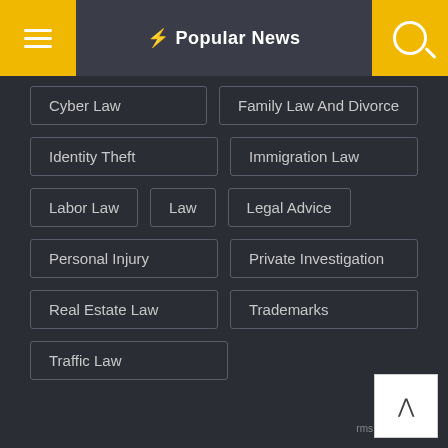Popular News
Cyber Law
Family Law And Divorce
Identity Theft
Immigration Law
Labor Law
Law
Legal Advice
Personal Injury
Private Investigation
Real Estate Law
Trademarks
Traffic Law